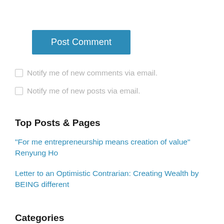Post Comment
Notify me of new comments via email.
Notify me of new posts via email.
Top Posts & Pages
"For me entrepreneurship means creation of value" Renyung Ho
Letter to an Optimistic Contrarian: Creating Wealth by BEING different
Categories